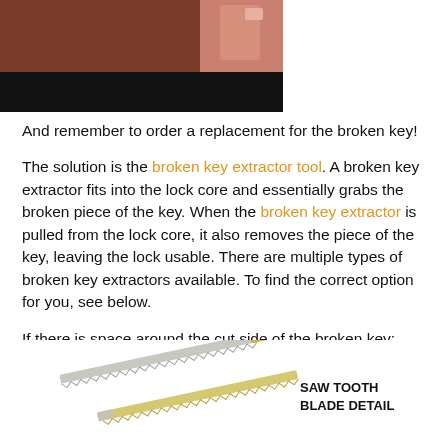[Figure (photo): Partial photo showing a hand near a lock, bottom portion has black bar. Top-left area of page.]
And remember to order a replacement for the broken key!
The solution is the broken key extractor tool. A broken key extractor fits into the lock core and essentially grabs the broken piece of the key. When the broken key extractor is pulled from the lock core, it also removes the piece of the key, leaving the lock usable. There are multiple types of broken key extractors available. To find the correct option for you, see below.
If there is space around the cut side of the broken key:
Pick the Saw Blade Style
[Figure (photo): Image of saw blade style broken key extractor tools showing two thin metallic blades with saw tooth detail. Label text reads SAW TOOTH BLADE DETAIL.]